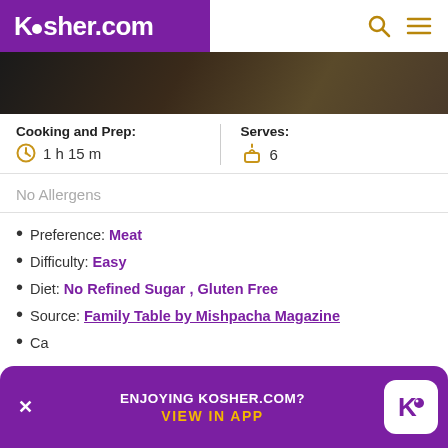Kosher.com
[Figure (photo): Dark food photography, partial view of a dish on a dark background]
Cooking and Prep: 1 h 15 m | Serves: 6
No Allergens
Preference: Meat
Difficulty: Easy
Diet: No Refined Sugar , Gluten Free
Source: Family Table by Mishpacha Magazine
Ca...
[Figure (screenshot): App download banner: ENJOYING KOSHER.COM? VIEW IN APP with Kosher.com app icon]